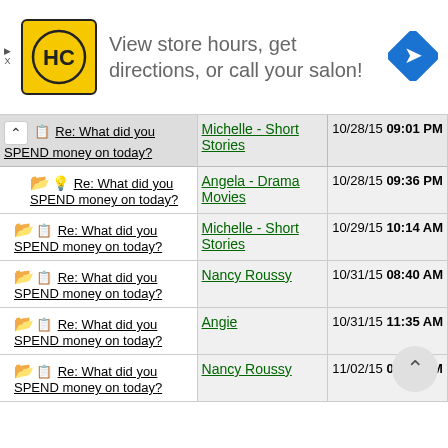[Figure (screenshot): Advertisement banner for Haircuttery salon: yellow HC logo, text 'View store hours, get directions, or call your salon!', and a blue navigation arrow icon.]
| Thread | Author | Date/Time |
| --- | --- | --- |
| Re: What did you SPEND money on today? | Michelle - Short Stories | 10/28/15 09:01 PM |
| Re: What did you SPEND money on today? | Angela - Drama Movies | 10/28/15 09:36 PM |
| Re: What did you SPEND money on today? | Michelle - Short Stories | 10/29/15 10:14 AM |
| Re: What did you SPEND money on today? | Nancy Roussy | 10/31/15 08:40 AM |
| Re: What did you SPEND money on today? | Angie | 10/31/15 11:35 AM |
| Re: What did you SPEND money on today? | Nancy Roussy | 11/02/15 02:18 PM |